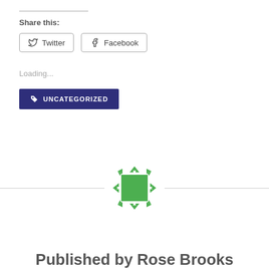Share this:
Twitter
Facebook
Loading...
UNCATEGORIZED
[Figure (logo): Green decorative square logo with arrow/chevron pattern around a solid green center square]
Published by Rose Brooks